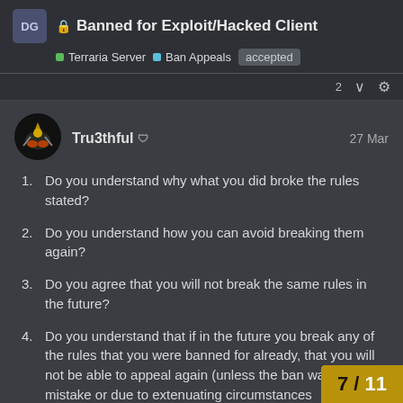Banned for Exploit/Hacked Client
Terraria Server   Ban Appeals   accepted
Tru3thful   27 Mar
Do you understand why what you did broke the rules stated?
Do you understand how you can avoid breaking them again?
Do you agree that you will not break the same rules in the future?
Do you understand that if in the future you break any of the rules that you were banned for already, that you will not be able to appeal again (unless the ban was a mistake or due to extenuating circumstances
7 / 11